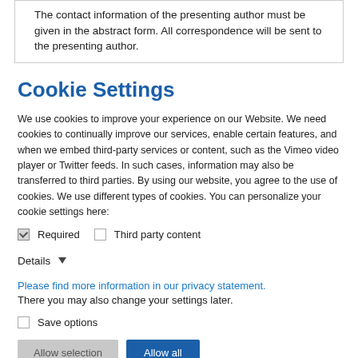The contact information of the presenting author must be given in the abstract form. All correspondence will be sent to the presenting author.
Cookie Settings
We use cookies to improve your experience on our Website. We need cookies to continually improve our services, enable certain features, and when we embed third-party services or content, such as the Vimeo video player or Twitter feeds. In such cases, information may also be transferred to third parties. By using our website, you agree to the use of cookies. We use different types of cookies. You can personalize your cookie settings here:
Required
Third party content
Details
Please find more information in our privacy statement. There you may also change your settings later.
Save options
Allow selection
Allow all